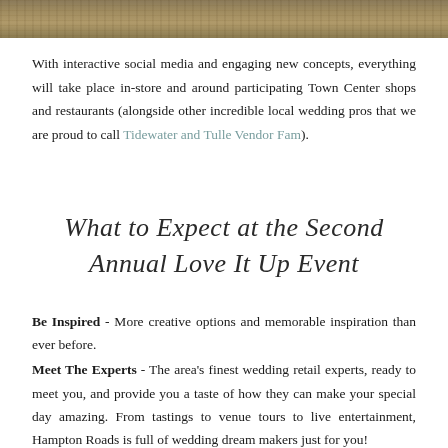[Figure (photo): Outdoor grass/ground photograph strip at top of page]
With interactive social media and engaging new concepts, everything will take place in-store and around participating Town Center shops and restaurants (alongside other incredible local wedding pros that we are proud to call Tidewater and Tulle Vendor Fam).
What to Expect at the Second Annual Love It Up Event
Be Inspired - More creative options and memorable inspiration than ever before.
Meet The Experts - The area's finest wedding retail experts, ready to meet you, and provide you a taste of how they can make your special day amazing. From tastings to venue tours to live entertainment, Hampton Roads is full of wedding dream makers just for you!